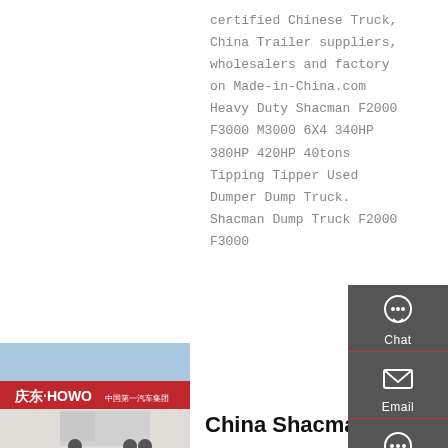certified Chinese Truck, China Trailer suppliers, wholesalers and factory on Made-in-China.com Heavy Duty Shacman F2000 F3000 M3000 6X4 340HP 380HP 420HP 40tons Tipping Tipper Used Dumper Dump Truck. Shacman Dump Truck F2000 F3000
[Figure (other): Sidebar with Chat, Email, Contact, and Top navigation icons on dark grey background]
[Figure (photo): Photo of a HOWO truck dealership building with red signage]
China Shacman